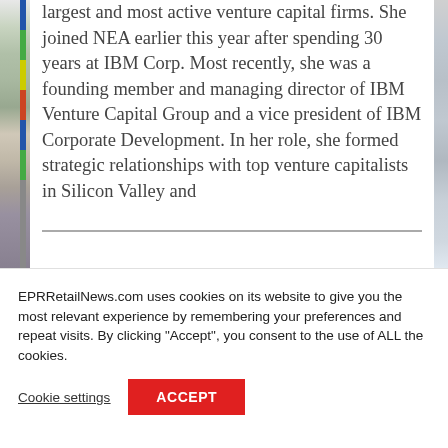largest and most active venture capital firms. She joined NEA earlier this year after spending 30 years at IBM Corp. Most recently, she was a founding member and managing director of IBM Venture Capital Group and a vice president of IBM Corporate Development. In her role, she formed strategic relationships with top venture capitalists in Silicon Valley and around the globe to drive…
EPRRetailNews.com uses cookies on its website to give you the most relevant experience by remembering your preferences and repeat visits. By clicking "Accept", you consent to the use of ALL the cookies.
Cookie settings
ACCEPT